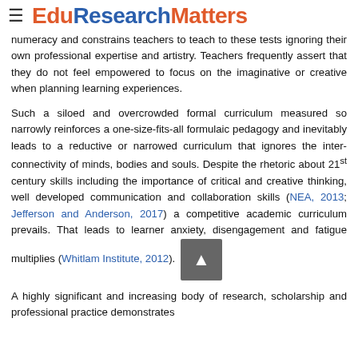EduResearchMatters
numeracy and constrains teachers to teach to these tests ignoring their own professional expertise and artistry. Teachers frequently assert that they do not feel empowered to focus on the imaginative or creative when planning learning experiences.
Such a siloed and overcrowded formal curriculum measured so narrowly reinforces a one-size-fits-all formulaic pedagogy and inevitably leads to a reductive or narrowed curriculum that ignores the inter-connectivity of minds, bodies and souls. Despite the rhetoric about 21st century skills including the importance of critical and creative thinking, well developed communication and collaboration skills (NEA, 2013; Jefferson and Anderson, 2017) a competitive academic curriculum prevails. That leads to learner anxiety, disengagement and fatigue multiplies (Whitlam Institute, 2012).
A highly significant and increasing body of research, scholarship and professional practice demonstrates